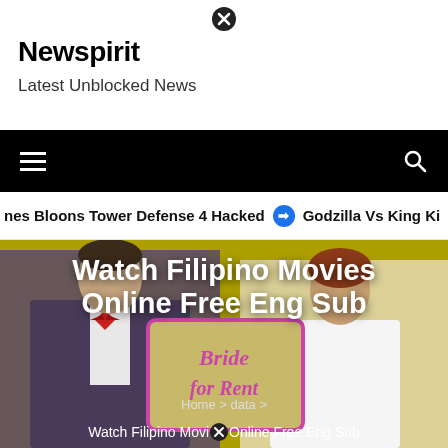Newspirit
Latest Unblocked News
[Figure (screenshot): Navigation bar with hamburger menu on left and search icon on right, black background]
nes Bloons Tower Defense 4 Hacked   ➤   Godzilla Vs King Ki
[Figure (photo): Hero image of a couple in formal wear, man in a suit with red bow tie, woman in white dress, holding a sign that says 'Bride for Rent'. Yellow background.]
Watch Filipino Movies Online Free Eng Sub
Home > data > Watch Filipino Movies Online Free Eng Sub